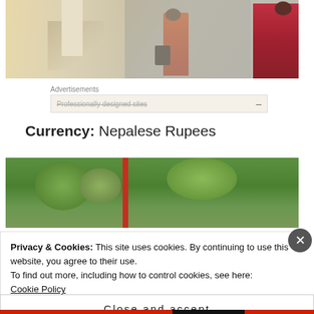[Figure (photo): Photograph of women in colorful saris walking near a white wall in Nepal. A woman in an orange/red sari is prominent in the center, another woman in red sari is visible at the right edge.]
Advertisements
Professionally designed sites –
Currency: Nepalese Rupees
[Figure (photo): Photograph of green trees and foliage with a red pole visible, outdoor scene.]
Privacy & Cookies: This site uses cookies. By continuing to use this website, you agree to their use.
To find out more, including how to control cookies, see here:
Cookie Policy
Close and accept